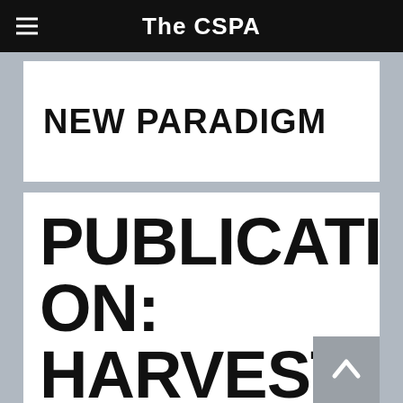The CSPA
NEW PARADIGM
PUBLICATION: HARVEST IN TIMES